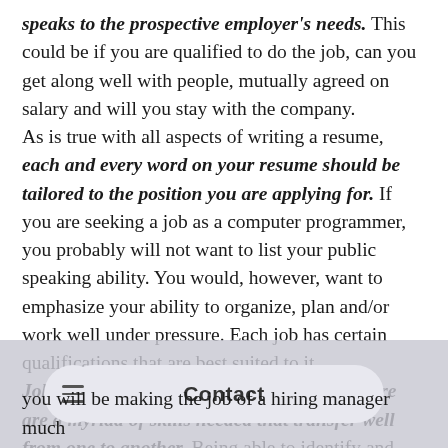speaks to the prospective employer's needs. This could be if you are qualified to do the job, can you get along well with people, mutually agreed on salary and will you stay with the company.
As is true with all aspects of writing a resume, each and every word on your resume should be tailored to the position you are applying for. If you are seeking a job as a computer programmer, you probably will not want to list your public speaking ability. You would, however, want to emphasize your ability to organize, plan and/or work well under pressure. Each job has certain qualifications that are best suited to it.
Job duties may differ from job to job, but there are a myriad of skills needed that transfer well from one to another. Being able to identify and clearly relate those transferable skills to a prospective employer is a huge
you will be making the job of a hiring manager much